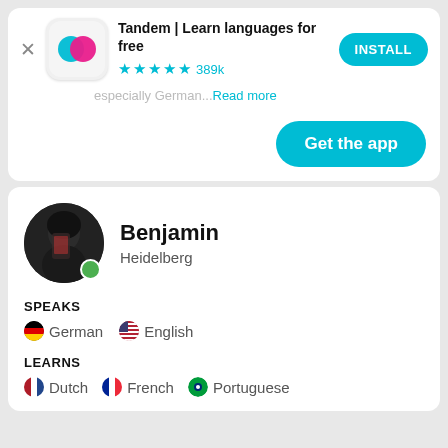[Figure (screenshot): Tandem app banner with logo icon, title, star rating, and INSTALL button]
especially German...Read more
[Figure (screenshot): Get the app button in teal/cyan color]
[Figure (photo): Profile photo of Benjamin from Heidelberg with green online indicator]
Benjamin
Heidelberg
SPEAKS
🇩🇪 German   🇺🇸 English
LEARNS
🇳🇱 Dutch   🇫🇷 French   🇧🇷 Portuguese